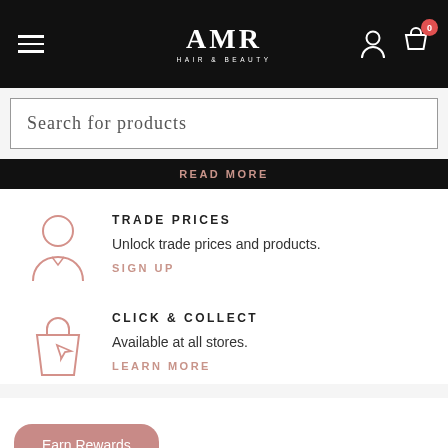AMR Hair & Beauty – navigation header with hamburger menu, logo, user icon, and cart icon with badge 0
Search for products
READ MORE
TRADE PRICES
Unlock trade prices and products.
SIGN UP
CLICK & COLLECT
Available at all stores.
LEARN MORE
Earn Rewards